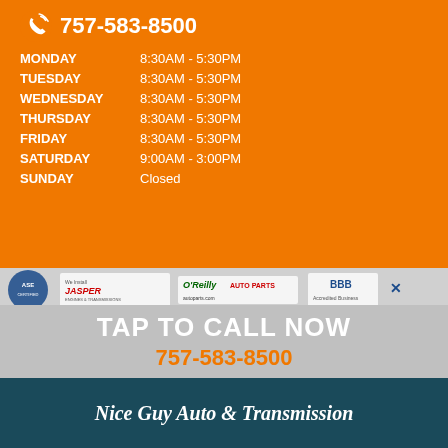757-583-8500
| Day | Hours |
| --- | --- |
| MONDAY | 8:30AM - 5:30PM |
| TUESDAY | 8:30AM - 5:30PM |
| WEDNESDAY | 8:30AM - 5:30PM |
| THURSDAY | 8:30AM - 5:30PM |
| FRIDAY | 8:30AM - 5:30PM |
| SATURDAY | 9:00AM - 3:00PM |
| SUNDAY | Closed |
[Figure (logo): Logos: ASE Certified, Jasper Engines & Transmissions (We Install, 3 Years/100,000 Miles Parts & Labor), O'Reilly Auto Parts, BBB Accredited Business]
TAP TO CALL NOW
757-583-8500
Nice Guy Auto & Transmission